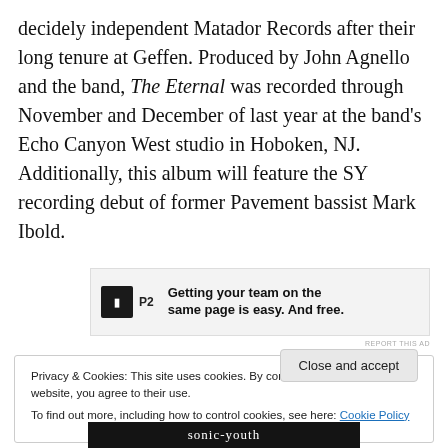decidely independent Matador Records after their long tenure at Geffen. Produced by John Agnello and the band, The Eternal was recorded through November and December of last year at the band's Echo Canyon West studio in Hoboken, NJ. Additionally, this album will feature the SY recording debut of former Pavement bassist Mark Ibold.
[Figure (other): Advertisement banner for P2 with logo and tagline: Getting your team on the same page is easy. And free.]
REPORT THIS AD
Privacy & Cookies: This site uses cookies. By continuing to use this website, you agree to their use. To find out more, including how to control cookies, see here: Cookie Policy
Close and accept
sonic-youth